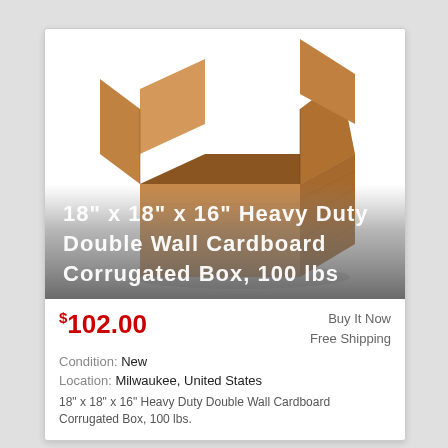[Figure (photo): Open brown cardboard corrugated box with flaps open, viewed from slightly above and front, on white background. Below the box image is a gradient overlay (white to gray) with white text showing the product title.]
18" x 18" x 16" Heavy Duty Double Wall Cardboard Corrugated Box, 100 lbs
$102.00
Buy It Now
Free Shipping
Condition: New
Location: Milwaukee, United States
18" x 18" x 16" Heavy Duty Double Wall Cardboard Corrugated Box, 100 lbs.